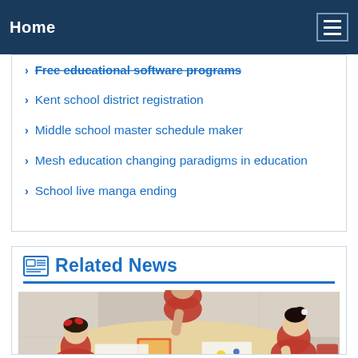Home
Free educational software programs
Kent school district registration
Middle school master schedule maker
Mesh education changing paradigms in education
School live manga ending
Related News
[Figure (photo): Aerial view of three young girls in red uniforms sitting around a table doing art/craft activities, viewed from above]